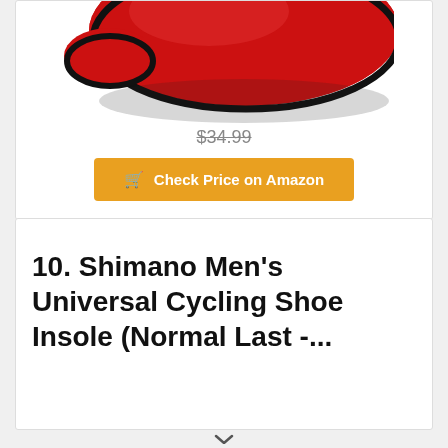[Figure (photo): Red cycling shoe insole, partially cropped at top of card]
$34.99
🛒 Check Price on Amazon
10. Shimano Men's Universal Cycling Shoe Insole (Normal Last -...